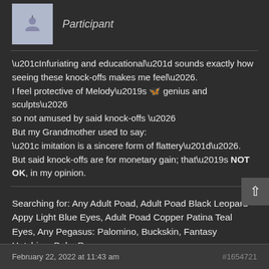Participant
“Infuriating and educational” sounds exactly how seeing these knock-offs makes me feel….
I feel protective of Melody’s 🦋 genius and sculpts…
so not amused by said knock-offs …
But my Grandmother used to say:
“ imitation is a sincere form of flattery”….
But said knock-offs are for monetary gain; that’s NOT OK, in my opinion.
Searching for: Any Adult Poad, Adult Poad Black Leopard Appy Light Blue Eyes, Adult Poad Copper Patina Teal Eyes, Any Pegasus: Palomino, Buckskin, Fantasy Hatching, Baby Pegs
February 22, 2022 at 11:43 am  #1654721